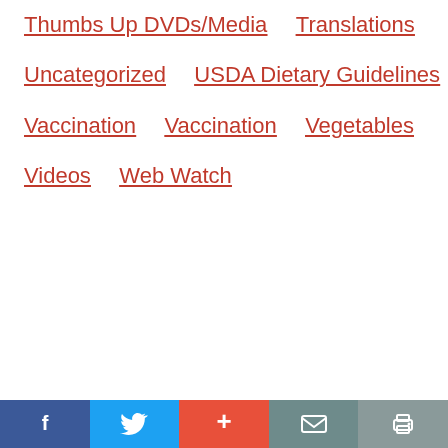Thumbs Up DVDs/Media
Translations
Uncategorized
USDA Dietary Guidelines
Vaccination
Vaccination
Vegetables
Videos
Web Watch